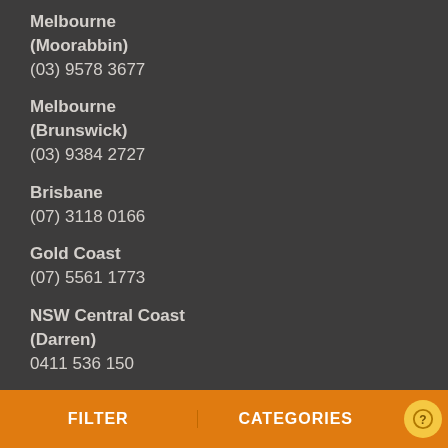Melbourne (Moorabbin)
(03) 9578 3677
Melbourne (Brunswick)
(03) 9384 2727
Brisbane
(07) 3118 0166
Gold Coast
(07) 5561 1773
NSW Central Coast (Darren)
0411 536 150
Sydney (Brent)
0408 442 212
FILTER   CATEGORIES